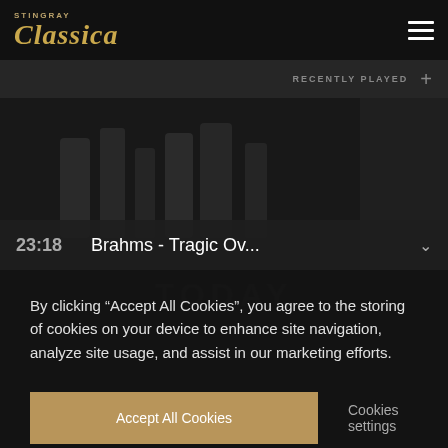[Figure (logo): Stingray Classica logo with golden italic text on dark background, hamburger menu icon top right]
RECENTLY PLAYED +
23:18   Brahms - Tragic Ov...
By clicking “Accept All Cookies”, you agree to the storing of cookies on your device to enhance site navigation, analyze site usage, and assist in our marketing efforts.
Accept All Cookies
Cookies settings